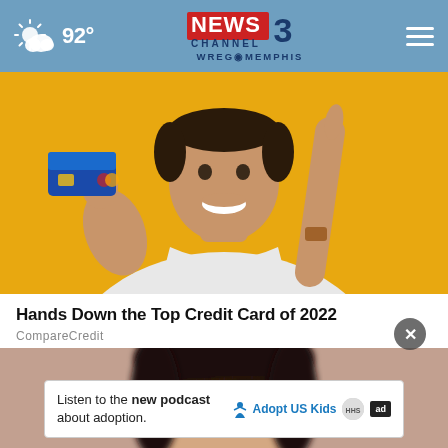92° NEWS CHANNEL 3 WREG MEMPHIS
[Figure (photo): Person holding a blue credit card in one hand and pointing finger up with the other hand, smiling, against a yellow background]
Hands Down the Top Credit Card of 2022
CompareCredit
[Figure (photo): Close-up of a woman's face with dark hair, blurred, against a neutral background]
Listen to the new podcast about adoption.